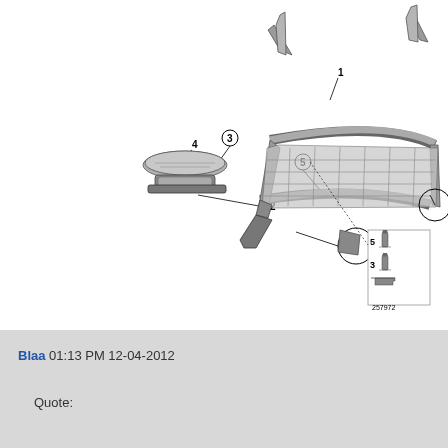[Figure (engineering-diagram): Exploded view of automotive seat frame assembly with numbered parts (1-5). Shows seat cushion frame with mounting components, rails, and hardware. Inset shows detailed views of screws and bracket labeled 257972.]
QUOTE
Blaa 01:13 PM 12-04-2012
Quote: